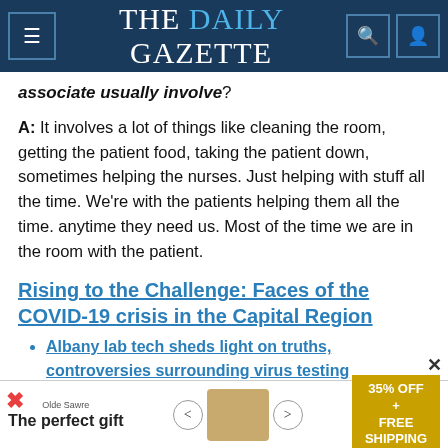THE DAILY GAZETTE
associate usually involve?
A: It involves a lot of things like cleaning the room, getting the patient food, taking the patient down, sometimes helping the nurses. Just helping with stuff all the time. We're with the patients helping them all the time. anytime they need us. Most of the time we are in the room with the patient.
Rising to the Challenge: Faces of the COVID-19 crisis in the Capital Region
Albany lab tech sheds light on truths, controversies surrounding virus testing
Glenville nursing home gets creative to